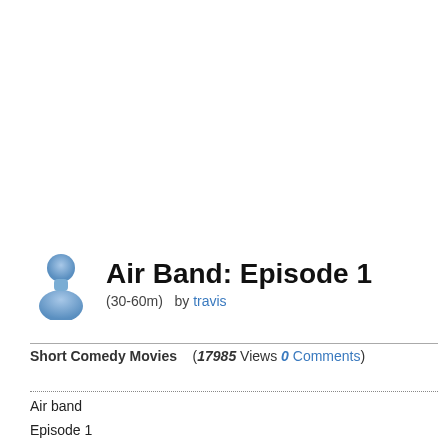Air Band: Episode 1
(30-60m)  by travis
Short Comedy Movies   (17985 Views 0 Comments)
Air band
Episode 1
Scene 1